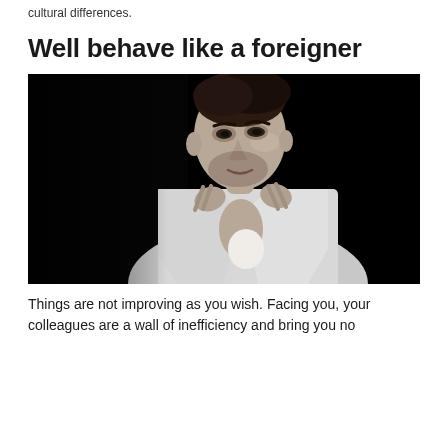cultural differences.
Well behave like a foreigner
[Figure (photo): Black and white fashion photo of a young man in a white open-collar shirt, pulling the lapels apart, looking sideways with a serious expression, against a dark background.]
Things are not improving as you wish. Facing you, your colleagues are a wall of inefficiency and bring you no